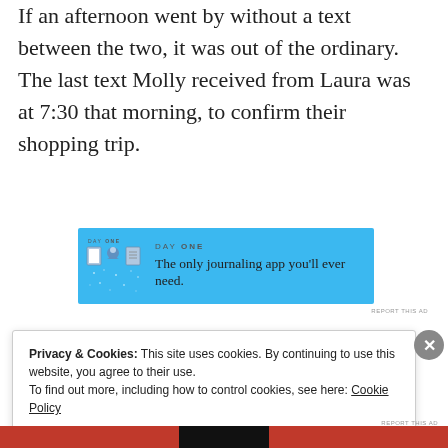If an afternoon went by without a text between the two, it was out of the ordinary. The last text Molly received from Laura was at 7:30 that morning, to confirm their shopping trip.
[Figure (screenshot): Day One journaling app advertisement banner with blue background. Shows 'DAY ONE' text, icons of a journal, person, and notepad, with text 'The only journaling app you'll ever need.']
Privacy & Cookies: This site uses cookies. By continuing to use this website, you agree to their use.
To find out more, including how to control cookies, see here: Cookie Policy
Close and accept